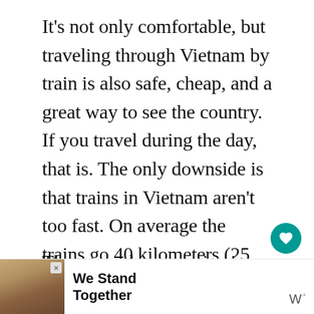It's not only comfortable, but traveling through Vietnam by train is also safe, cheap, and a great way to see the country. If you travel during the day, that is. The only downside is that trains in Vietnam aren't too fast. On average the trains go 40 kilometers (25 miles) per hour.
There are sleeper trains in Vietnam with bunk beds, which are convenient if you don't have much time to travel, or if you save money, as it saves you a night in a ho...
[Figure (other): Teal circular heart/save button]
[Figure (other): Share button (circular) with share icon]
[Figure (other): What's Next card: Travel to Kerala, India...]
[Figure (photo): Advertisement banner: We Stand Together with group of people photo, W logo]